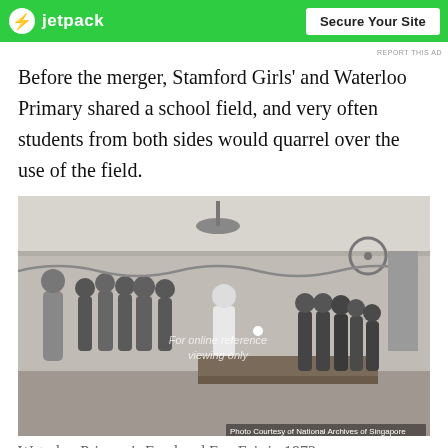[Figure (other): Jetpack advertisement banner with green background, Jetpack logo on left and 'Secure Your Site' button on right. 'REPORT THIS AD' text below.]
Before the merger, Stamford Girls' and Waterloo Primary shared a school field, and very often students from both sides would quarrel over the use of the field.
[Figure (photo): Black and white photograph of Waterloo Primary's Food and Fun Fair in 1972. Shows adults and children in a school hall. A person in white clothing appears to be playing a game at a table while children in school uniforms watch. Decorations hang from the ceiling. Watermark reads 'For online reference viewing only'. Photo Courtesy of National Archives of Singapore.]
Waterloo Primary's Food and Fun Fair in 1972